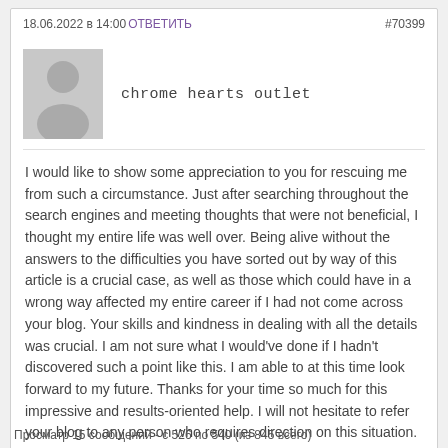18.06.2022 в 14:00ОТВЕТИТЬ   #70399
chrome hearts outlet
I would like to show some appreciation to you for rescuing me from such a circumstance. Just after searching throughout the search engines and meeting thoughts that were not beneficial, I thought my entire life was well over. Being alive without the answers to the difficulties you have sorted out by way of this article is a crucial case, as well as those which could have in a wrong way affected my entire career if I had not come across your blog. Your skills and kindness in dealing with all the details was crucial. I am not sure what I would've done if I hadn't discovered such a point like this. I am able to at this time look forward to my future. Thanks for your time so much for this impressive and results-oriented help. I will not hesitate to refer your blog to any person who requires direction on this situation.
Просматр 15 сообщений - с 526 по 540 (из 845 всего)